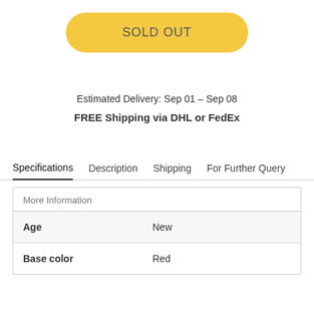[Figure (other): Yellow rounded 'SOLD OUT' button]
Estimated Delivery: Sep 01 – Sep 08
FREE Shipping via DHL or FedEx
Specifications  Description  Shipping  For Further Query
| Age | New |
| Base color | Red |